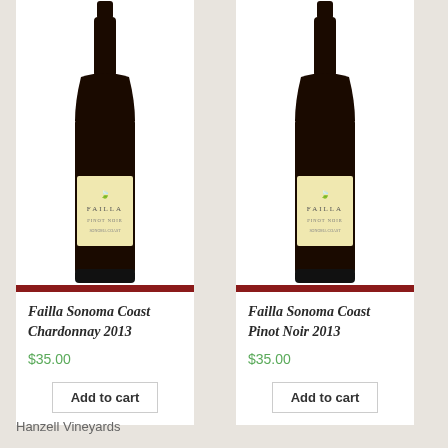[Figure (photo): Wine bottle with cream label reading FAILLA, left product card]
Failla Sonoma Coast Chardonnay 2013
$35.00
Add to cart
[Figure (photo): Wine bottle with cream label reading FAILLA, right product card]
Failla Sonoma Coast Pinot Noir 2013
$35.00
Add to cart
Hanzell Vineyards